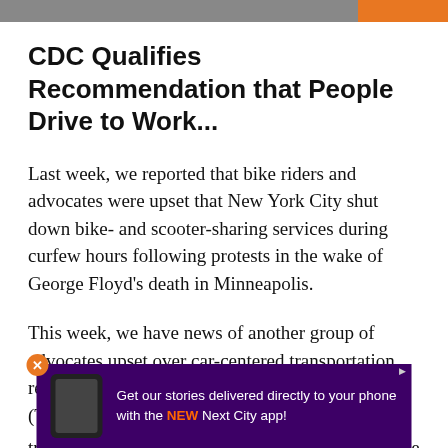[Figure (photo): Partial image at top of page with orange accent bar on right side]
CDC Qualifies Recommendation that People Drive to Work...
Last week, we reported that bike riders and advocates were upset that New York City shut down bike- and scooter-sharing services during curfew hours following protests in the wake of George Floyd’s death in Minneapolis.
This week, we have news of another group of advocates upset over car-centered transportation recommendations. Transportation for America (T4A) reports on its blog that pushback from city transit and transportation officials has led the Cente... revise...